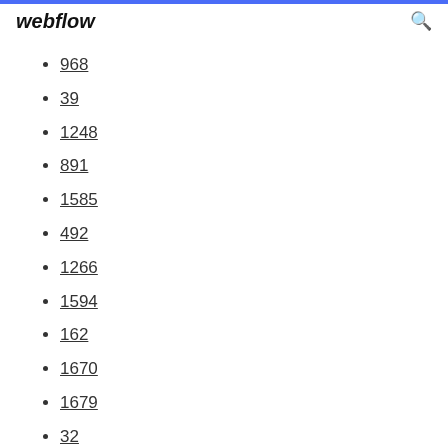webflow
968
39
1248
891
1585
492
1266
1594
162
1670
1679
32